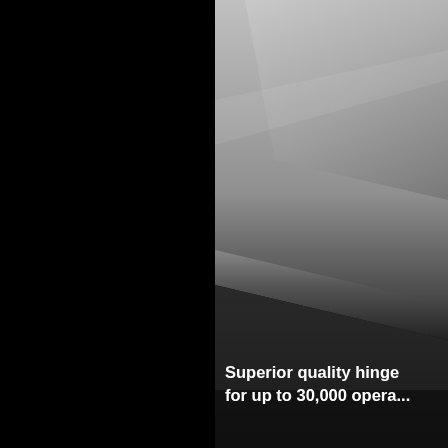[Figure (photo): Close-up photograph of a high-quality hinge mechanism shown against a dark background with a metallic gray surface curving diagonally across the upper-right portion of the image.]
Superior quality hinge for up to 30,000 opera...